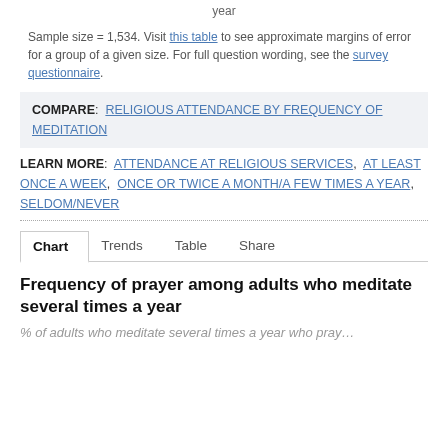year
Sample size = 1,534. Visit this table to see approximate margins of error for a group of a given size. For full question wording, see the survey questionnaire.
COMPARE: RELIGIOUS ATTENDANCE BY FREQUENCY OF MEDITATION
LEARN MORE: ATTENDANCE AT RELIGIOUS SERVICES, AT LEAST ONCE A WEEK, ONCE OR TWICE A MONTH/A FEW TIMES A YEAR, SELDOM/NEVER
Chart  Trends  Table  Share
Frequency of prayer among adults who meditate several times a year
% of adults who meditate several times a year who pray…